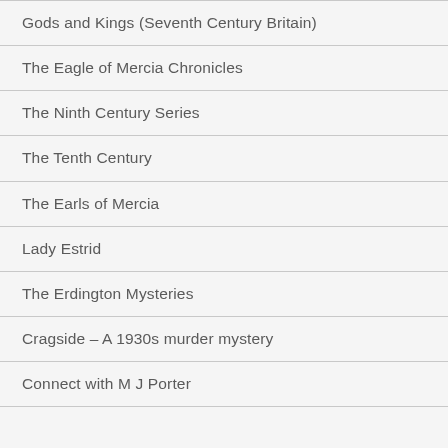Gods and Kings (Seventh Century Britain)
The Eagle of Mercia Chronicles
The Ninth Century Series
The Tenth Century
The Earls of Mercia
Lady Estrid
The Erdington Mysteries
Cragside – A 1930s murder mystery
Connect with M J Porter